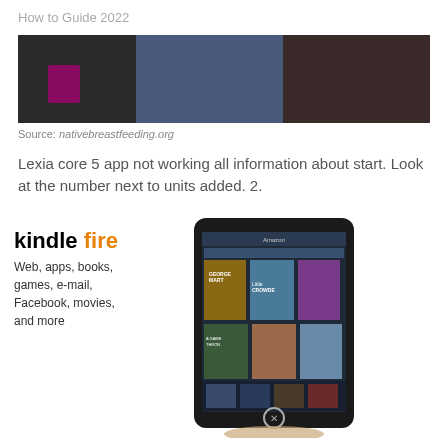How to Guide 2022
[Figure (photo): Photo showing people standing, one with a pink badge lanyard, wearing dark clothing]
Source: nativebreastfeeding.org
Lexia core 5 app not working all information about start. Look at the number next to units added. 2.
[Figure (photo): Kindle Fire advertisement showing a Kindle Fire tablet with text: kindle fire, Web, apps, books, games, e-mail, Facebook, movies, and more]